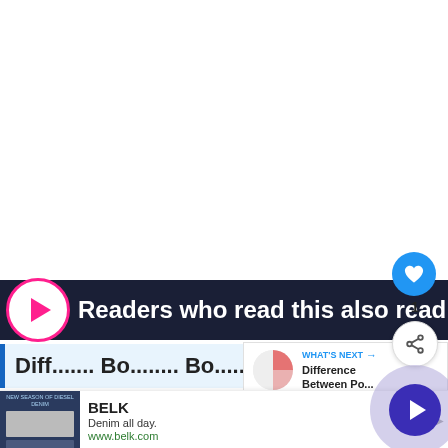[Figure (screenshot): White blank area (top portion of webpage)]
Readers who read this also read:
[Figure (other): Like button (heart icon, blue circle) with count 1 and share button]
[Figure (other): What's Next panel with pie chart thumbnail and text 'Difference Between Po...']
[Figure (other): Article teaser with blue left border showing partial heading text]
[Figure (other): Advertisement for BELK: Denim all day. www.belk.com with clothing image]
[Figure (other): Next arrow navigation button (dark blue circle with right chevron, purple halo)]